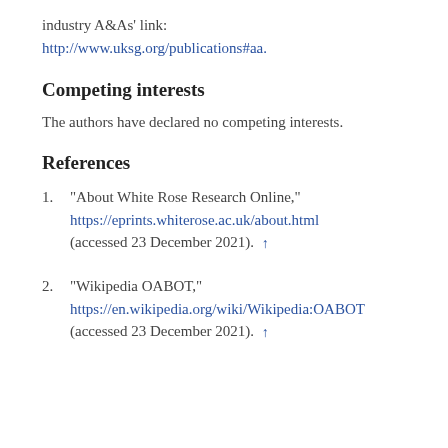industry A&As' link: http://www.uksg.org/publications#aa.
Competing interests
The authors have declared no competing interests.
References
1. "About White Rose Research Online," https://eprints.whiterose.ac.uk/about.html (accessed 23 December 2021).
2. "Wikipedia OABOT," https://en.wikipedia.org/wiki/Wikipedia:OABOT (accessed 23 December 2021).